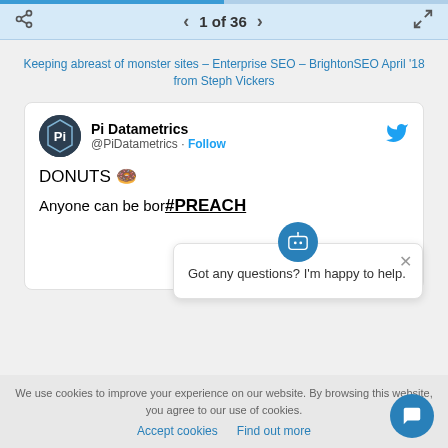1 of 36
Keeping abreast of monster sites – Enterprise SEO – BrightonSEO April '18 from Steph Vickers
[Figure (screenshot): Tweet from Pi Datametrics (@PiDatametrics) with text 'DONUTS 🍩 Anyone can be bored... #PREACH' with a Follow button and Twitter bird icon, and a chatbot popup saying 'Got any questions? I'm happy to help.']
We use cookies to improve your experience on our website. By browsing this website, you agree to our use of cookies.
Accept cookies  Find out more